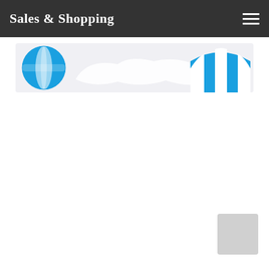Sales & Shopping
[Figure (illustration): Banner image showing two blue and white striped market/tent icons on a light grey background, one on the left (globe/balloon style) and one on the right (awning/tent style), with a decorative cloud shape in the middle.]
[Figure (other): Small grey rectangle in the bottom-right area of the page.]